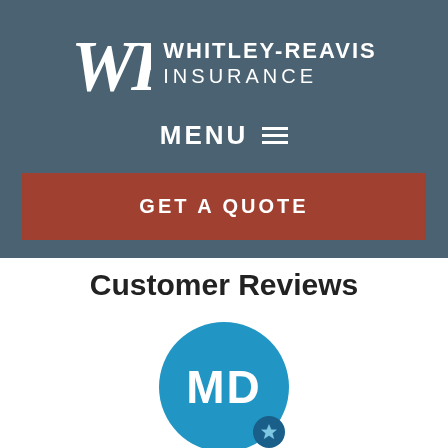[Figure (logo): Whitley-Reavis Insurance logo with WR monogram in white on steel-blue background]
MENU ≡
GET A QUOTE
Customer Reviews
[Figure (illustration): Blue circular avatar with initials MD and a small rocket badge icon at the bottom right]